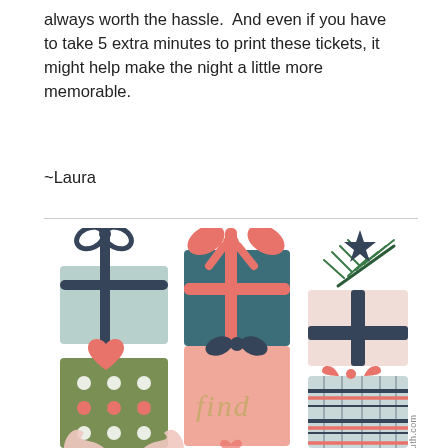always worth the hassle.  And even if you have to take 5 extra minutes to print these tickets, it might help make the night a little more memorable.
~Laura
[Figure (illustration): Colorful illustrated Christmas gift boxes in two rows of three, featuring various wrapping styles: light blue with dark bow, teal with coral ribbon, blush with pine branch decoration, green polka-dot with heart, pink with dark bow and 'find' text in gold, and plaid teal/coral gift box. Watermark reads 'textingthetruth.com' vertically on right side.]